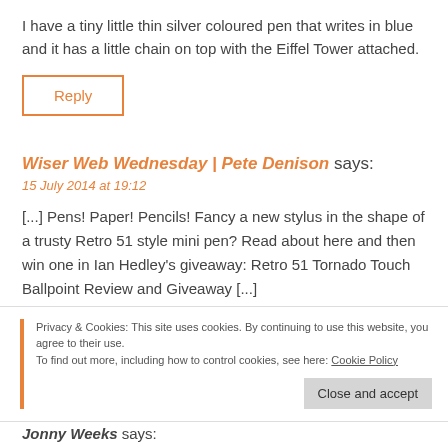I have a tiny little thin silver coloured pen that writes in blue and it has a little chain on top with the Eiffel Tower attached.
Reply
Wiser Web Wednesday | Pete Denison says:
15 July 2014 at 19:12
[...] Pens! Paper! Pencils! Fancy a new stylus in the shape of a trusty Retro 51 style mini pen? Read about here and then win one in Ian Hedley’s giveaway: Retro 51 Tornado Touch Ballpoint Review and Giveaway [...]
Privacy & Cookies: This site uses cookies. By continuing to use this website, you agree to their use. To find out more, including how to control cookies, see here: Cookie Policy
Close and accept
Jonny Weeks says: